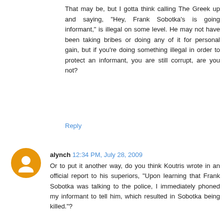That may be, but I gotta think calling The Greek up and saying, "Hey, Frank Sobotka's is going informant," is illegal on some level. He may not have been taking bribes or doing any of it for personal gain, but if you're doing something illegal in order to protect an informant, you are still corrupt, are you not?
Reply
alynch 12:34 PM, July 28, 2009
Or to put it another way, do you think Koutris wrote in an official report to his superiors, "Upon learning that Frank Sobotka was talking to the police, I immediately phoned my informant to tell him, which resulted in Sobotka being killed."?
Reply
rhys 12:36 PM, July 28, 2009
@Hatfield: It is never really clear whether Koutris is